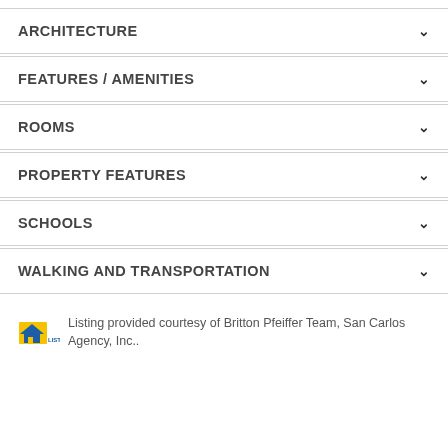ARCHITECTURE
FEATURES / AMENITIES
ROOMS
PROPERTY FEATURES
SCHOOLS
WALKING AND TRANSPORTATION
Listing provided courtesy of Britton Pfeiffer Team, San Carlos Agency, Inc..